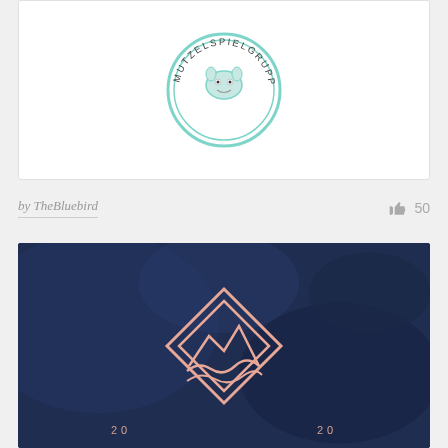[Figure (logo): Circular logo with mint/teal border showing text 'MUTZELSPIELGRUPPE' around the edge with a cartoon character in the center, on white background]
by TheBluebird   👍 50
[Figure (logo): Dark navy blue background with a salmon/rose-colored diamond-shaped logo featuring mountain peaks and a wave inside. Numbers '20' appear on either side at the bottom.]